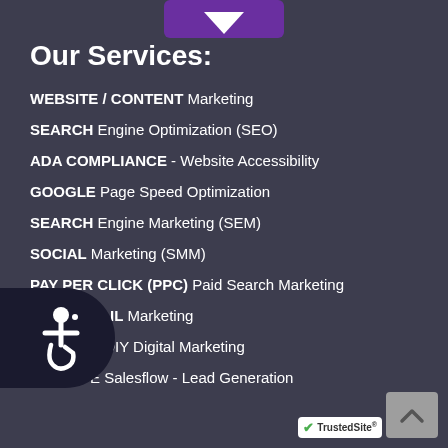[Figure (illustration): Purple downward arrow button at top center]
Our Services:
WEBSITE / CONTENT Marketing
SEARCH Engine Optimization (SEO)
ADA COMPLIANCE - Website Accessibility
GOOGLE Page Speed Optimization
SEARCH Engine Marketing (SEM)
SOCIAL Marketing (SMM)
PAY PER CLICK (PPC) Paid Search Marketing
CRM / EMAIL Marketing
NOWSITE DIY Digital Marketing
NOWSITE Salesflow - Lead Generation
[Figure (illustration): Accessibility wheelchair icon badge on left side]
[Figure (logo): TrustedSite badge at bottom right]
[Figure (illustration): Scroll to top arrow button at bottom right]